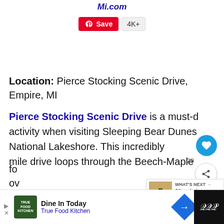Pierce Stocking Drive, Sleeping Bear Dunes, By TravelMi.com
[Figure (screenshot): Pinterest Save button with red background showing 'Save' and a count badge '4K+']
Location: Pierce Stocking Scenic Drive, Empire, MI
Pierce Stocking Scenic Drive is a must-do activity when visiting Sleeping Bear Dunes National Lakeshore. This incredibly scenic mile drive loops through the Beech-Maple forest over
[Figure (screenshot): What's Next panel showing thumbnail for 'Silver Lake Michigan Sa...' with arrow indicator]
[Figure (screenshot): Advertisement bar: True Food Kitchen 'Dine In Today' ad with navigation arrow icon and dark panel on right]